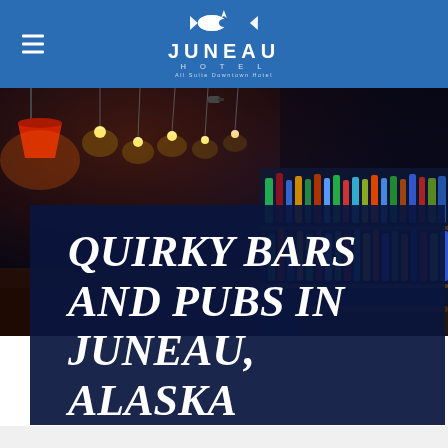[Figure (logo): Juneau Hotel logo — fish emblem above 'JUNEAU' text, 'HOTEL' subtitle, 'All Suite Downtown Hotel' tagline, on blue header bar with hamburger menu icon]
[Figure (photo): Interior of a bar/pub with warm hanging pendant lights, red lamp shades, rows of liquor bottles on shelves, dark atmospheric ambiance]
QUIRKY BARS AND PUBS IN JUNEAU, ALASKA